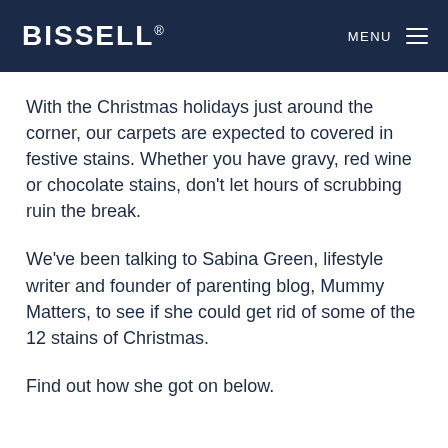BISSELL® MENU
With the Christmas holidays just around the corner, our carpets are expected to covered in festive stains. Whether you have gravy, red wine or chocolate stains, don't let hours of scrubbing ruin the break.
We've been talking to Sabina Green, lifestyle writer and founder of parenting blog, Mummy Matters, to see if she could get rid of some of the 12 stains of Christmas.
Find out how she got on below.